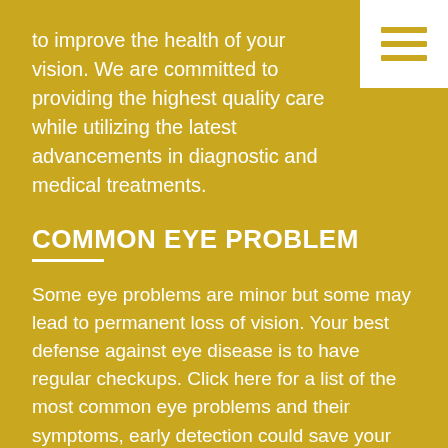to improve the health of your vision. We are committed to providing the highest quality care while utilizing the latest advancements in diagnostic and medical treatments.
COMMON EYE PROBLEM
Some eye problems are minor but some may lead to permanent loss of vision. Your best defense against eye disease is to have regular checkups. Click here for a list of the most common eye problems and their symptoms, early detection could save your vision, call or schedule an appointment today.
OFFICE LOCATION
19052 N R H Johnson Blvd, Sun City West, AZ 85375